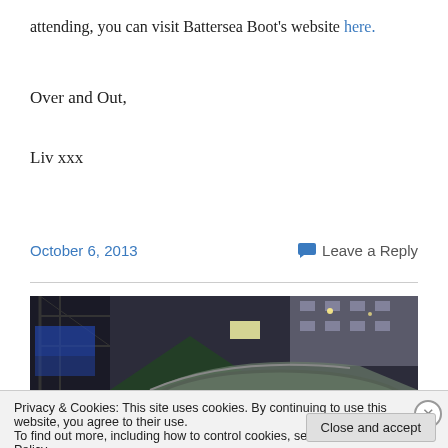attending, you can visit Battersea Boot's website here.
Over and Out,
Liv xxx
October 6, 2013    Leave a Reply
[Figure (photo): Nighttime outdoor photograph showing a car roof and background buildings with lights, appears to be a market or event setting]
Privacy & Cookies: This site uses cookies. By continuing to use this website, you agree to their use.
To find out more, including how to control cookies, see here: Cookie Policy
Close and accept